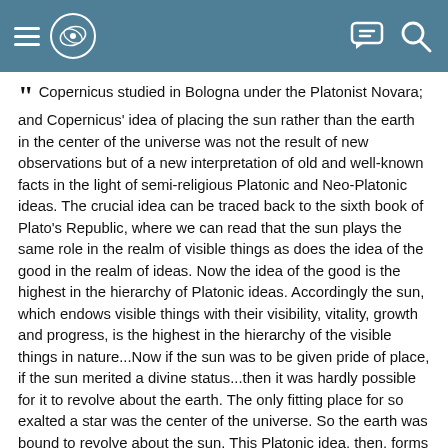[Navigation bar with hamburger menu, logo, chat icon, and search icon]
“ Copernicus studied in Bologna under the Platonist Novara; and Copernicus’ idea of placing the sun rather than the earth in the center of the universe was not the result of new observations but of a new interpretation of old and well-known facts in the light of semi-religious Platonic and Neo-Platonic ideas. The crucial idea can be traced back to the sixth book of Plato’s Republic, where we can read that the sun plays the same role in the realm of visible things as does the idea of the good in the realm of ideas. Now the idea of the good is the highest in the hierarchy of Platonic ideas. Accordingly the sun, which endows visible things with their visibility, vitality, growth and progress, is the highest in the hierarchy of the visible things in nature...Now if the sun was to be given pride of place, if the sun merited a divine status...then it was hardly possible for it to revolve about the earth. The only fitting place for so exalted a star was the center of the universe. So the earth was bound to revolve about the sun. This Platonic idea, then, forms the historical background of the Copernican revolution. It does not start with observations, but with a religious or mythological